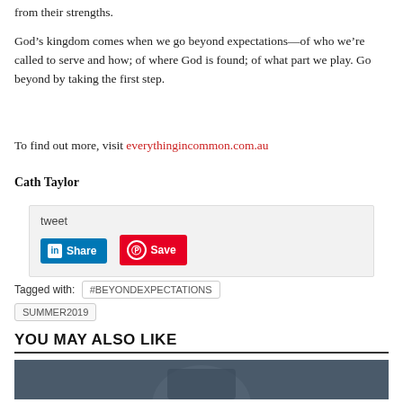from their strengths.
God’s kingdom comes when we go beyond expectations—of who we’re called to serve and how; of where God is found; of what part we play. Go beyond by taking the first step.
To find out more, visit everythingincommon.com.au
Cath Taylor
tweet
[Figure (screenshot): Social sharing buttons: LinkedIn Share button and Pinterest Save button]
Tagged with: #BEYONDEXPECTATIONS SUMMER2019
YOU MAY ALSO LIKE
[Figure (photo): Partial photo of a person, dark toned background]